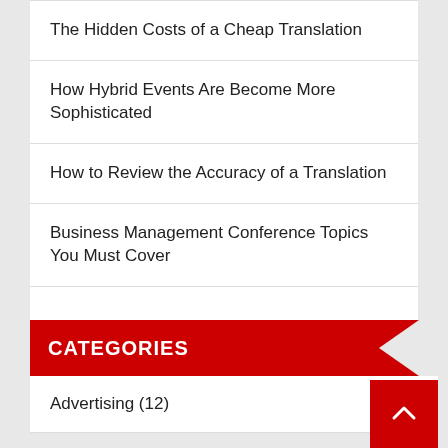The Hidden Costs of a Cheap Translation
How Hybrid Events Are Become More Sophisticated
How to Review the Accuracy of a Translation
Business Management Conference Topics You Must Cover
CATEGORIES
Advertising (12)